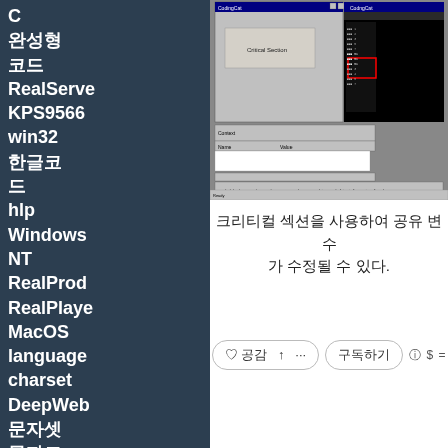C
완성형
코드
RealServer
KPS9566
win32
한글코드
hlp
Windows NT
RealProduct
RealPlayer
MacOS
language
charset
DeepWeb
문자셋
문자코드
windows api
STR
심층웹
[Figure (screenshot): Screenshot of a Windows debugging environment showing CodingCat application with Critical Section dialog, debugger panels showing Context, Name/Value fields, and console output with symbolic information messages.]
크리티컬 섹션을 사용하여 공유 변수가 수정될 수 있다.
♡ 공감  ↑ ···   구독하기   ⓘ $ =